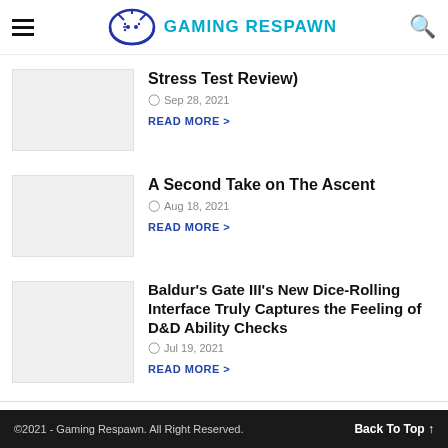Gaming Respawn
Stress Test Review)
Sep 28, 2021
READ MORE >
A Second Take on The Ascent
Aug 18, 2021
READ MORE >
Baldur's Gate III's New Dice-Rolling Interface Truly Captures the Feeling of D&D Ability Checks
Jul 19, 2021
READ MORE >
VIEW DESKTOP VERSION
©2021 - Gaming Respawn. All Right Reserved.   Back To Top ↑